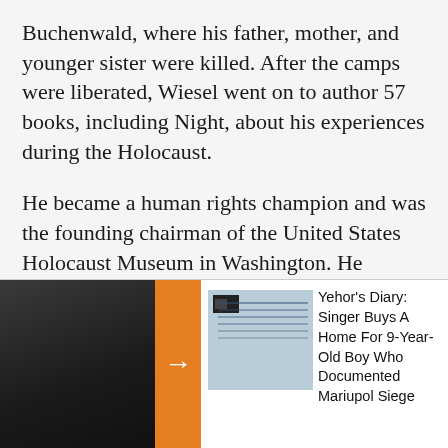Buchenwald, where his father, mother, and younger sister were killed. After the camps were liberated, Wiesel went on to author 57 books, including Night, about his experiences during the Holocaust.
He became a human rights champion and was the founding chairman of the United States Holocaust Museum in Washington. He received the Nobel Peace Prize in 1986 and died in 2016, aged 87. In August 2018, anti-Semitic graffiti appeared outside the house in the town of Sighetu Marmatiei where Wiesel was born. One message said that Wiesel was "in hell with Hitler."
[Figure (photo): Dark photo on left side of bottom panel, with an orange arrow bar overlay and a thumbnail image of a diary/notebook to the right]
Yehor's Diary: Singer Buys A Home For 9-Year-Old Boy Who Documented Mariupol Siege